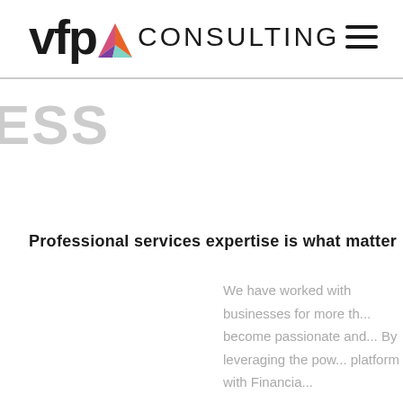vfp CONSULTING
ESS
Professional services expertise is what matter
We have worked with businesses for more th... become passionate and... By leveraging the pow... platform with Financia...